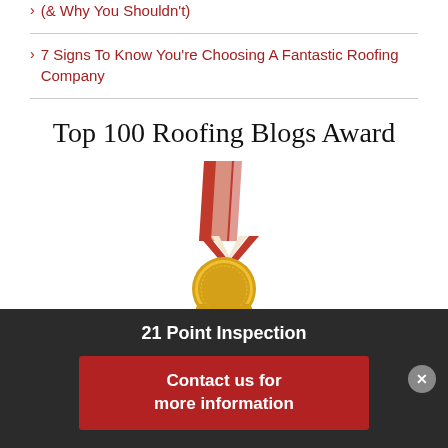(& Why You Shouldn't)
7 Signs To Know You're Choosing A Fantastic Roofing Company
Top 100 Roofing Blogs Award
[Figure (illustration): Gold medal with red and white ribbon, representing Top 100 Roofing Blogs Award]
21 Point Inspection
Contact us for more information